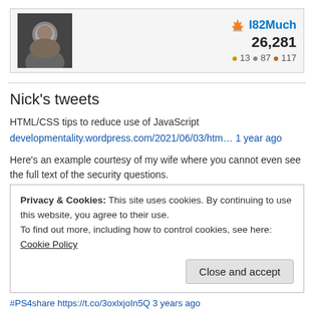[Figure (screenshot): Stack Overflow user card showing avatar photo of a man, username I82Much with SO icon, reputation 26,281, and badge counts: 13 gold, 87 silver, 117 bronze]
Nick's tweets
HTML/CSS tips to reduce use of JavaScript
developmentality.wordpress.com/2021/06/03/htm… 1 year ago
Here's an example courtesy of my wife where you cannot even see the full text of the security questions. tmblr.co/ZgBnamYP5QjXWy…
2 years ago
Privacy & Cookies: This site uses cookies. By continuing to use this website, you agree to their use.
To find out more, including how to control cookies, see here: Cookie Policy
#PS4share https://t.co/3oxlxjoIn5Q 3 years ago